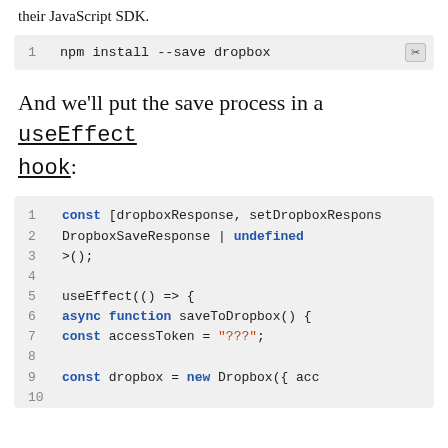their JavaScript SDK.
[Figure (screenshot): Code block showing: 1  npm install --save dropbox]
And we'll put the save process in a useEffect hook:
[Figure (screenshot): Code block showing lines 1-10 of JavaScript code with const [dropboxResponse, setDropboxResponse, DropboxSaveResponse | undefined, >();, useEffect(() => {, async function saveToDropbox() {, const accessToken = "???";, const dropbox = new Dropbox({ acc]